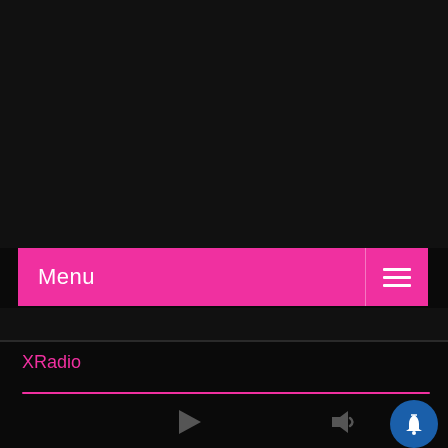[Figure (screenshot): Dark top area of a mobile radio app UI]
Menu
XRadio